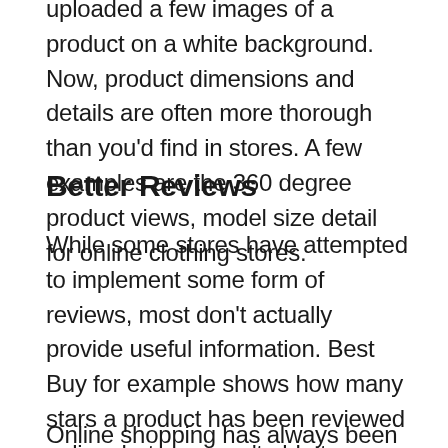uploaded a few images of a product on a white background. Now, product dimensions and details are often more thorough than you'd find in stores. A few examples are the 360 degree product views, model size detail for online clothing stores.
Better Reviews
While some stores have attempted to implement some form of reviews, most don't actually provide useful information. Best Buy for example shows how many stars a product has been reviewed online, but you aren't able to actually see any of the reviews!
Online shopping has always been more